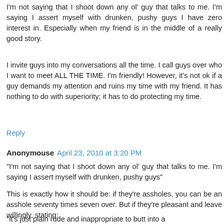I'm not saying that I shoot down any ol' guy that talks to me. I'm saying I assert myself with drunken, pushy guys I have zero interest in. Especially when my friend is in the middle of a really good story.
I invite guys into my conversations all the time. I call guys over who I want to meet ALL THE TIME. I'm friendly! However, it's not ok if a guy demands my attention and ruins my time with my friend. It has nothing to do with superiority; it has to do protecting my time.
Reply
Anonymouse April 23, 2010 at 3:20 PM
"I'm not saying that I shoot down any ol' guy that talks to me. I'm saying I assert myself with drunken, pushy guys"
This is exactly how it should be: if they're assholes, you can be an asshole seventy times seven over. But if they're pleasant and leave willingly, stating:
"it's just plain rude and inappropriate to butt into a